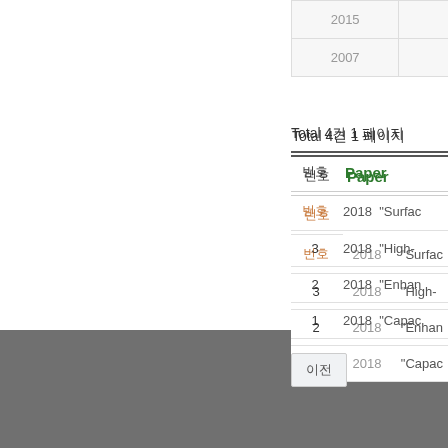|  |  |
| --- | --- |
| 2015 |  |
| 2007 |  |
Total 4건 1 페이지
| 번호 | Paper |
| --- | --- |
| 번호 | 2018 | "Surfac... |
| 3 | 2018 | "High-... |
| 2 | 2018 | "Enhan... |
| 1 | 2018 | "Capac... |
이전